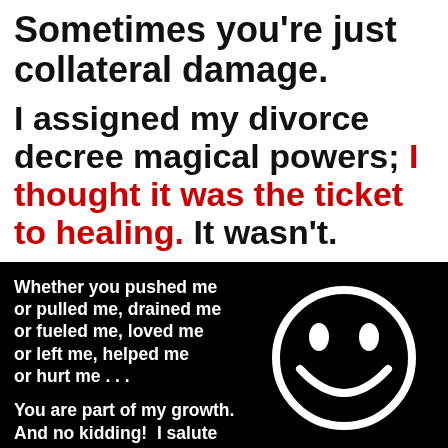Sometimes you’re just collateral damage.
I assigned my divorce decree magical powers; I thought it was the ticket to healing. It wasn’t.
[Figure (illustration): Black background box with white bold text and a white smiley face circle on the right. Text reads: 'Whether you pushed me or pulled me, drained me or fueled me, loved me or left me, helped me or hurt me ... You are part of my growth. And no kidding! I salute you']